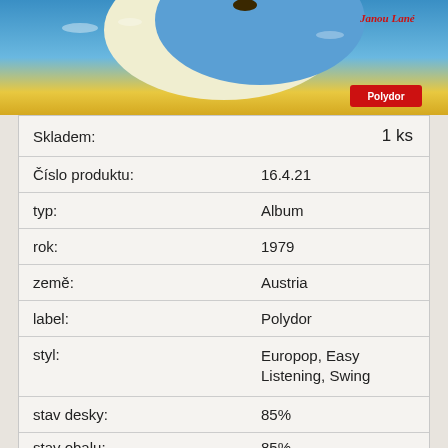[Figure (illustration): Album cover art showing a crescent moon shape against a blue sky with yellow/golden horizon, with artist name and Polydor label badge in top right]
| Skladem: | 1 ks |
| Číslo produktu: | 16.4.21 |
| typ: | Album |
| rok: | 1979 |
| země: | Austria |
| label: | Polydor |
| styl: | Europop, Easy Listening, Swing |
| stav desky: | 85% |
| stav obalu: | 85% |